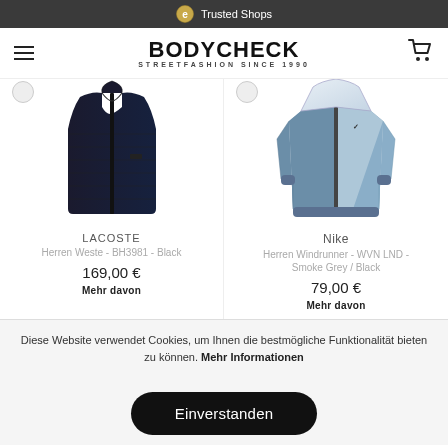Trusted Shops
BODYCHECK
STREETFASHION SINCE 1990
[Figure (photo): LACOSTE black quilted men's vest product photo]
LACOSTE
Herren Weste - BH3981 - Black
169,00 €
Mehr davon
[Figure (photo): Nike grey/white men's Windrunner jacket product photo]
Nike
Herren Windrunner - WVN LND - Smoke Grey / Black
79,00 €
Mehr davon
Diese Website verwendet Cookies, um Ihnen die bestmögliche Funktionalität bieten zu können. Mehr Informationen
Einverstanden